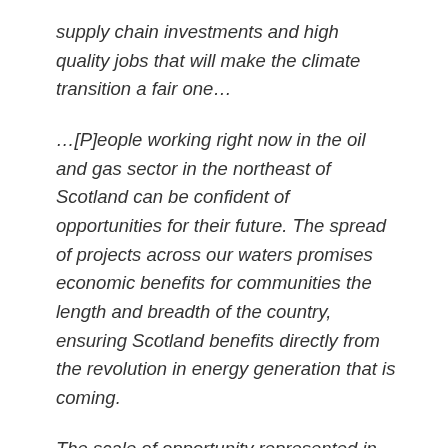supply chain investments and high quality jobs that will make the climate transition a fair one…
…[P]eople working right now in the oil and gas sector in the northeast of Scotland can be confident of opportunities for their future. The spread of projects across our waters promises economic benefits for communities the length and breadth of the country, ensuring Scotland benefits directly from the revolution in energy generation that is coming.
The scale of opportunity represented in today's announcement exceeds our current planning assumption of 10 GW of offshore wind – which is a massive vote of confidence in Scotland. So